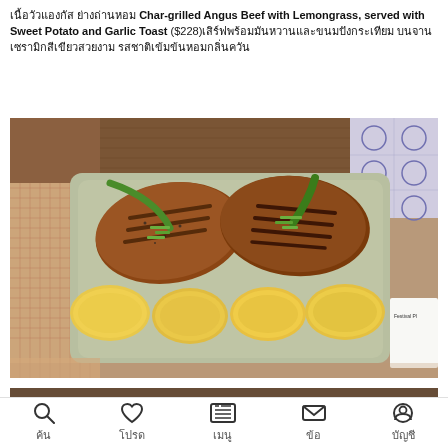เนื้อวัวแองกัส ย่างถ่านหอม Char-grilled Angus Beef with Lemongrass, served with Sweet Potato and Garlic Toast ($228)เสิร์ฟพร้อมมันหวานและขนมปังกระเทียม บนจานเซรามิกสีเขียว
[Figure (photo): Char-grilled Angus Beef with Lemongrass served on a rectangular ceramic plate with sweet potato slices and lemongrass garnish. Two grilled beef pieces topped with green onion/lemongrass, four golden sweet potato slices arranged below. Plate sits on a wooden table with woven placemat visible.]
[Figure (photo): Partial view of another food photo at the bottom of the page, mostly cropped out.]